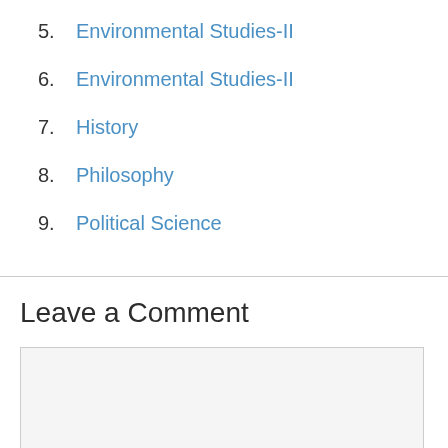5. Environmental Studies-II
6. Environmental Studies-II
7. History
8. Philosophy
9. Political Science
Leave a Comment